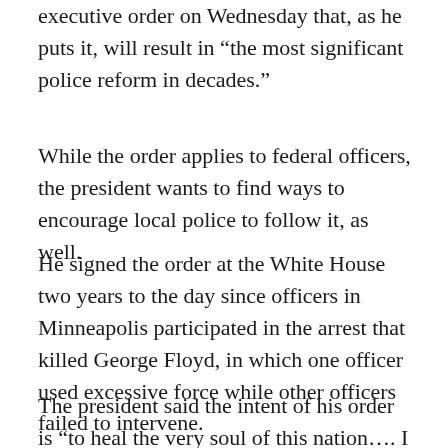executive order on Wednesday that, as he puts it, will result in “the most significant police reform in decades.”
While the order applies to federal officers, the president wants to find ways to encourage local police to follow it, as well.
He signed the order at the White House two years to the day since officers in Minneapolis participated in the arrest that killed George Floyd, in which one officer used excessive force while other officers failed to intervene.
The president said the intent of his order is “to heal the very soul of this nation…. I believe the vast majority of Americans want the same